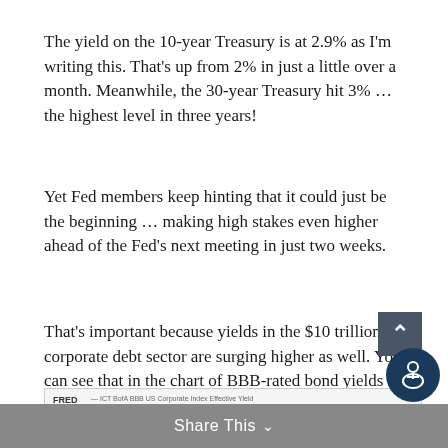The yield on the 10-year Treasury is at 2.9% as I'm writing this. That's up from 2% in just a little over a month. Meanwhile, the 30-year Treasury hit 3% … the highest level in three years!
Yet Fed members keep hinting that it could just be the beginning … making high stakes even higher ahead of the Fed's next meeting in just two weeks.
That's important because yields in the $10 trillion corporate debt sector are surging higher as well. You can see that in the chart of BBB-rated bond yields below.
[Figure (continuous-plot): Partial FRED chart showing ICT BofA BBB US Corporate Index Effective Yield, beginning to display with axis labels visible. Chart is cropped at the bottom of the page.]
Share This